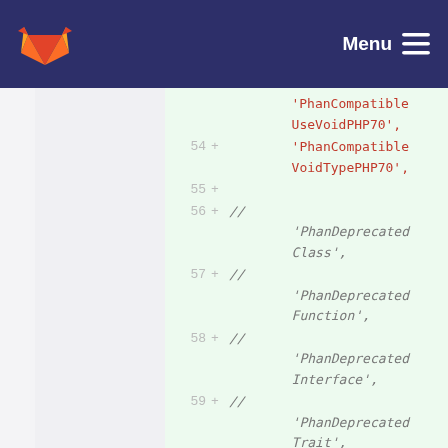Menu
[Figure (screenshot): GitLab code diff view showing added lines 54-60 with PHP code strings for PhanCompatible and PhanDeprecated plugin names]
'PhanCompatibleUseVoidPHP70',
54 + 'PhanCompatibleVoidTypePHP70',
55 +
56 + // 'PhanDeprecatedClass',
57 + // 'PhanDeprecatedFunction',
58 + // 'PhanDeprecatedInterface',
59 + // 'PhanDeprecatedTrait',
60 +
'PhanParamSigna